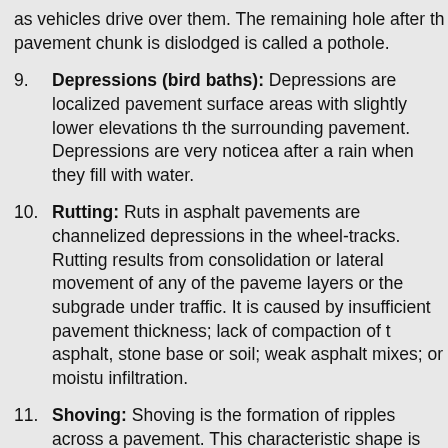as vehicles drive over them. The remaining hole after the pavement chunk is dislodged is called a pothole.
9. Depressions (bird baths): Depressions are localized pavement surface areas with slightly lower elevations than the surrounding pavement. Depressions are very noticeable after a rain when they fill with water.
10. Rutting: Ruts in asphalt pavements are channelized depressions in the wheel-tracks. Rutting results from consolidation or lateral movement of any of the pavement layers or the subgrade under traffic. It is caused by insufficient pavement thickness; lack of compaction of the asphalt, stone base or soil; weak asphalt mixes; or moisture infiltration.
11. Shoving: Shoving is the formation of ripples across a pavement. This characteristic shape is why this type of distress is sometimes called wash-boarding. Shoving occurs at locations having severe horizontal stresses, such as intersections. It is typically caused by: excess asphalt; too much fine aggregate; rounded aggregate; too soft an